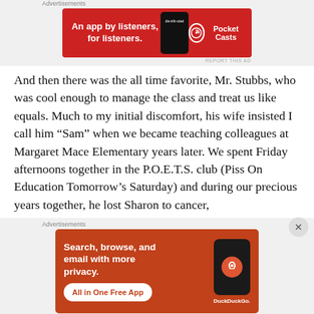Advertisements
[Figure (illustration): Pocket Casts advertisement banner — red background with text 'An app by listeners, for listeners.' and Pocket Casts logo, with a phone image showing 'dis-trib-uted']
And then there was the all time favorite, Mr. Stubbs, who was cool enough to manage the class and treat us like equals.  Much to my initial discomfort, his wife insisted I call him “Sam” when we became teaching colleagues at Margaret Mace Elementary years later.  We spent Friday afternoons together in the P.O.E.T.S. club (Piss On Education Tomorrow’s Saturday) and during our precious years together, he lost Sharon to cancer,
Advertisements
[Figure (illustration): DuckDuckGo advertisement banner — orange-red background with text 'Search, browse, and email with more privacy.' and 'All in One Free App' button, DuckDuckGo logo on phone]